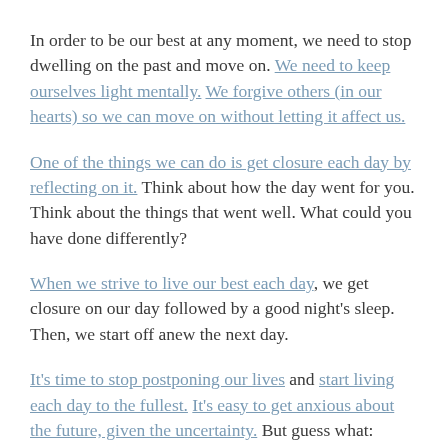In order to be our best at any moment, we need to stop dwelling on the past and move on. We need to keep ourselves light mentally. We forgive others (in our hearts) so we can move on without letting it affect us.
One of the things we can do is get closure each day by reflecting on it. Think about how the day went for you. Think about the things that went well. What could you have done differently?
When we strive to live our best each day, we get closure on our day followed by a good night's sleep. Then, we start off anew the next day.
It’s time to stop postponing our lives and start living each day to the fullest. It’s easy to get anxious about the future, given the uncertainty. But guess what: There is no point in worrying about something that isn’t here. Besides, how the future will be shaped is not always in our control, so why worry about it?!